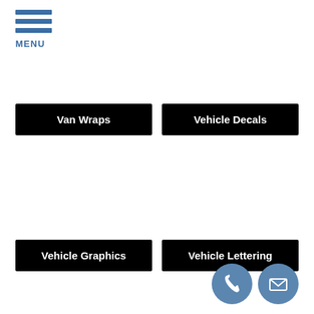[Figure (infographic): Hamburger menu icon with three horizontal blue bars and MENU label below]
Van Wraps
Vehicle Decals
Vehicle Graphics
Vehicle Lettering
[Figure (infographic): Phone icon in blue circle and envelope/email icon in blue circle, contact buttons]